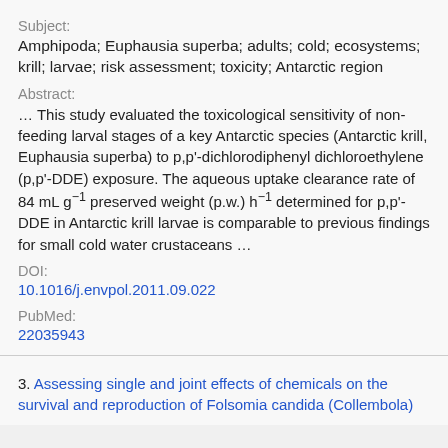Subject:
Amphipoda; Euphausia superba; adults; cold; ecosystems; krill; larvae; risk assessment; toxicity; Antarctic region
Abstract:
... This study evaluated the toxicological sensitivity of non-feeding larval stages of a key Antarctic species (Antarctic krill, Euphausia superba) to p,p'-dichlorodiphenyl dichloroethylene (p,p'-DDE) exposure. The aqueous uptake clearance rate of 84 mL g⁻¹ preserved weight (p.w.) h⁻¹ determined for p,p'-DDE in Antarctic krill larvae is comparable to previous findings for small cold water crustaceans ...
DOI:
10.1016/j.envpol.2011.09.022
PubMed:
22035943
3. Assessing single and joint effects of chemicals on the survival and reproduction of Folsomia candida (Collembola)